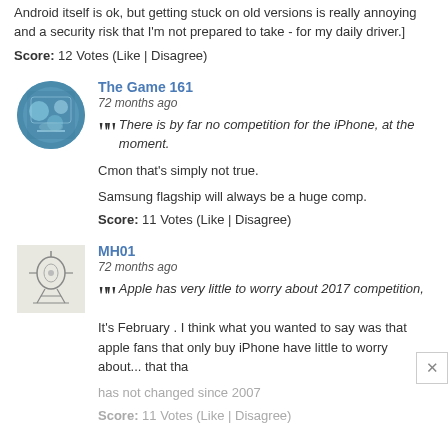Android itself is ok, but getting stuck on old versions is really annoying and a security risk that I'm not prepared to take - for my daily driver.]
Score: 12 Votes (Like | Disagree)
The Game 161
72 months ago
There is by far no competition for the iPhone, at the moment.
Cmon that's simply not true.
Samsung flagship will always be a huge comp.
Score: 11 Votes (Like | Disagree)
MH01
72 months ago
Apple has very little to worry about 2017 competition,
It's February . I think what you wanted to say was that apple fans that only buy iPhone have little to worry about... that tha
has not changed since 2007
Score: 11 Votes (Like | Disagree)